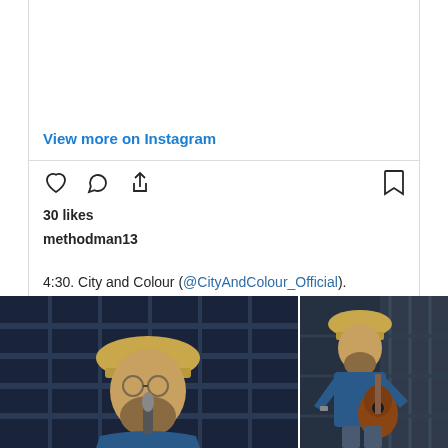View more on Instagram
30 likes
methodman13
4:30. City and Colour (@CityAndColour_Official). Canadian singer songwriter Dallas Green's folk project. #CityAndColour #DallasGreen #Canada #FolkMusic
view all 5 comments
Add a comment...
[Figure (photo): Two side-by-side concert photos of a bearded man wearing a straw hat and blue shirt performing on stage — left photo is a close-up at a microphone, right photo shows him playing an acoustic guitar]